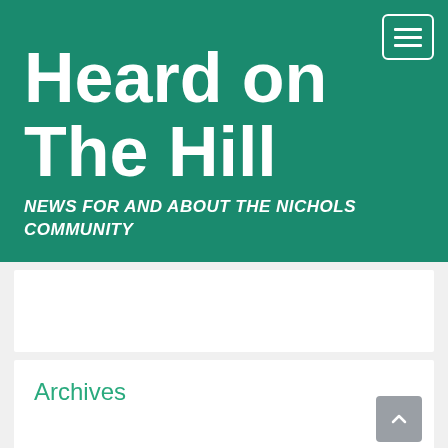Heard on The Hill
NEWS FOR AND ABOUT THE NICHOLS COMMUNITY
Archives